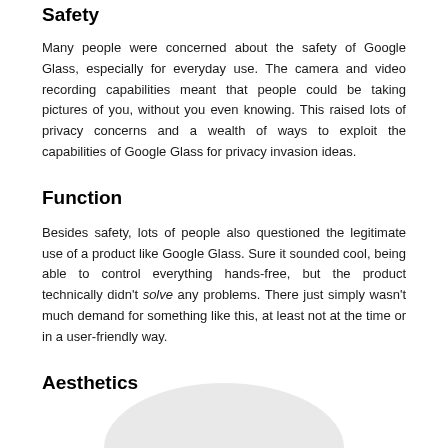Safety
Many people were concerned about the safety of Google Glass, especially for everyday use. The camera and video recording capabilities meant that people could be taking pictures of you, without you even knowing. This raised lots of privacy concerns and a wealth of ways to exploit the capabilities of Google Glass for privacy invasion ideas.
Function
Besides safety, lots of people also questioned the legitimate use of a product like Google Glass. Sure it sounded cool, being able to control everything hands-free, but the product technically didn't solve any problems. There just simply wasn't much demand for something like this, at least not at the time or in a user-friendly way.
Aesthetics
[Figure (illustration): Partial circular grey shape visible at bottom of page, likely an image of a person or object cut off by page boundary]